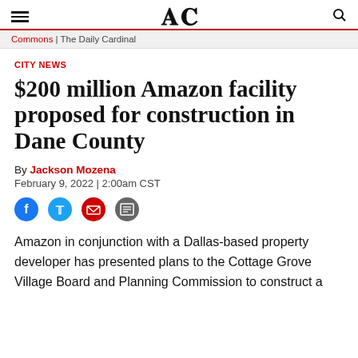DC | Commons | The Daily Cardinal
CITY NEWS
$200 million Amazon facility proposed for construction in Dane County
By Jackson Mozena
February 9, 2022 | 2:00am CST
Amazon in conjunction with a Dallas-based property developer has presented plans to the Cottage Grove Village Board and Planning Commission to construct a